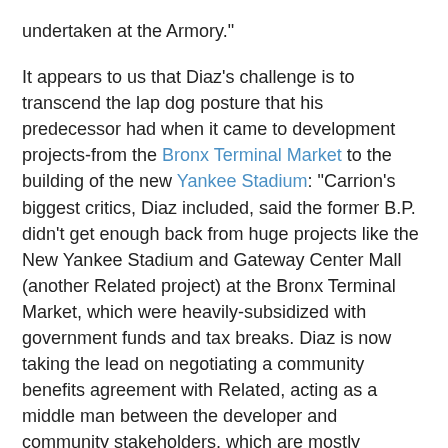undertaken at the Armory."
It appears to us that Diaz's challenge is to transcend the lap dog posture that his predecessor had when it came to development projects-from the Bronx Terminal Market to the building of the new Yankee Stadium: "Carrion's biggest critics, Diaz included, said the former B.P. didn't get enough back from huge projects like the New Yankee Stadium and Gateway Center Mall (another Related project) at the Bronx Terminal Market, which were heavily-subsidized with government funds and tax breaks. Diaz is now taking the lead on negotiating a community benefits agreement with Related, acting as a middle man between the developer and community stakeholders, which are mostly represented by the Kingsbridge Armory Redevelopment Alliance (KARA) and Community Board 7."
This is a somewhat interesting take since the BP's role-unlike, say, that of the City Council's, is strictly advisory; which limits the kind of leverage he can bring to bear with Related. That being said, it would behoove Diaz to work in collaboration with the Bronx council delegation-something